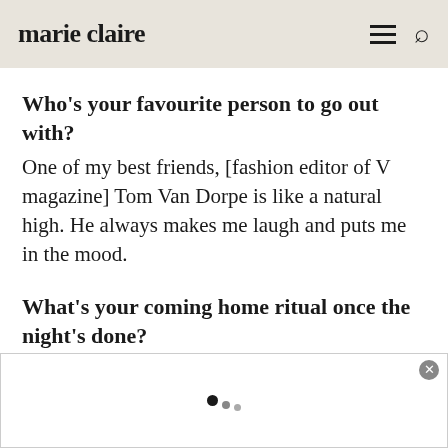marie claire
Who's your favourite person to go out with?
One of my best friends, [fashion editor of V magazine] Tom Van Dorpe is like a natural high. He always makes me laugh and puts me in the mood.
What's your coming home ritual once the night's done?
I like to shower, wash my hair and my face
[Figure (other): Advertisement banner with loading dots indicator and close button]